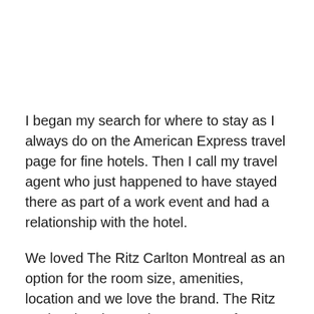I began my search for where to stay as I always do on the American Express travel page for fine hotels.  Then I call my travel agent who just happened to have stayed there as part of a work event and had a relationship with the hotel.
We loved The Ritz Carlton Montreal as an option for the room size, amenities, location and we love the brand. The Ritz Carlton hotels are always a go to for me.  They have old world large room sizes, fabulous textures and the staff is simply always well chosen and well trained.Give me a classic hotel anytime!